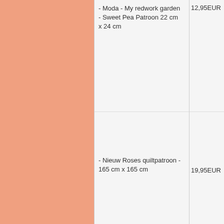[Figure (other): Salmon/peach colored rectangle panel on the left side of the page, likely a product image placeholder]
- Moda - My redwork garden - Sweet Pea Patroon 22 cm x 24 cm
12,95EUR
- Nieuw Roses quiltpatroon - 165 cm x 165 cm
19,95EUR